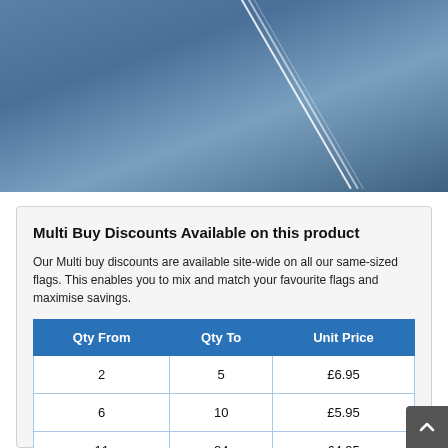[Figure (photo): Blue sky photograph with a white flagpole or mast running diagonally across the image]
Multi Buy Discounts Available on this product
Our Multi buy discounts are available site-wide on all our same-sized flags. This enables you to mix and match your favourite flags and maximise savings.
| Qty From | Qty To | Unit Price |
| --- | --- | --- |
| 2 | 5 | £6.95 |
| 6 | 10 | £5.95 |
| 11 | 24 | £4.95 |
| 25 | MORE | £4.45 |